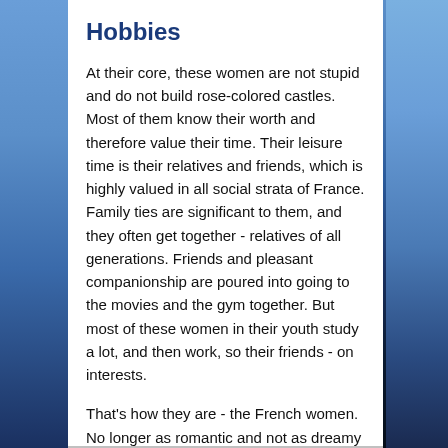Hobbies
At their core, these women are not stupid and do not build rose-colored castles. Most of them know their worth and therefore value their time. Their leisure time is their relatives and friends, which is highly valued in all social strata of France. Family ties are significant to them, and they often get together - relatives of all generations. Friends and pleasant companionship are poured into going to the movies and the gym together. But most of these women in their youth study a lot, and then work, so their friends - on interests.
That's how they are - the French women. No longer as romantic and not as dreamy as the fictitious heroine Amelie, but still as attractive, independent, and flawless.